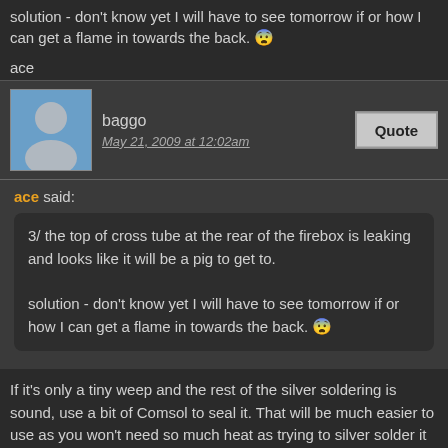solution - don't know yet I will have to see tomorrow if or how I can get a flame in towards the back. 😨
ace
baggo
May 21, 2009 at 12:02am
ace said:
3/ the top of cross tube at the rear of the firebox is leaking and looks like it will be a pig to get to.

solution - don't know yet I will have to see tomorrow if or how I can get a flame in towards the back. 😨
If it's only a tiny weep and the rest of the silver soldering is sound, use a bit of Comsol to seal it. That will be much easier to use as you won't need so much heat as trying to silver solder it again. When reheating a joint to silver soldering temperatures there's always the danger of disturbing the rest of the joints, especially in an enclosed area like a firebox. You can finish up with more leaks than you started with. My brother's just been through that